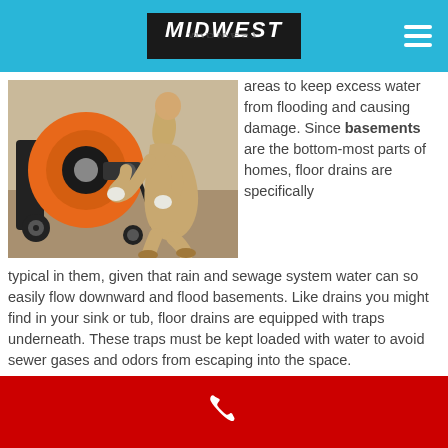MIDWEST
[Figure (photo): A technician in tan work clothes and gloves operating an orange drain cleaning machine on a concrete floor.]
areas to keep excess water from flooding and causing damage. Since basements are the bottom-most parts of homes, floor drains are specifically typical in them, given that rain and sewage system water can so easily flow downward and flood basements. Like drains you might find in your sink or tub, floor drains are equipped with traps underneath. These traps must be kept loaded with water to avoid sewer gases and odors from escaping into the space.
[phone icon]